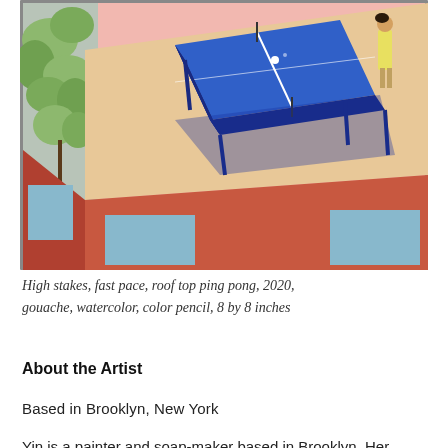[Figure (illustration): Painting showing a rooftop ping pong table viewed from above at an angle. A blue ping pong table with a net sits on a peach/tan rooftop. The building facade below is terracotta/salmon red with blue rectangular window openings. A figure in yellow stands to the right. Green foliage/tree visible at upper left. Pink sky background. Bold, graphic, flat painting style.]
High stakes, fast pace, roof top ping pong, 2020, gouache, watercolor, color pencil, 8 by 8 inches
About the Artist
Based in Brooklyn, New York
Yin is a painter and soap-maker based in Brooklyn. Her